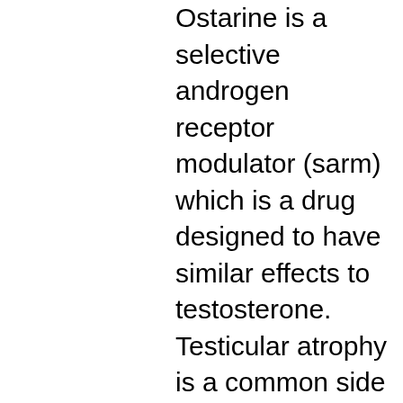Ostarine is a selective androgen receptor modulator (sarm) which is a drug designed to have similar effects to testosterone. Testicular atrophy is a common side effect of sarms owing to the primary hormonal change. Sarms or selective androgen receptor modulators reduce. Unlike steroids, sarms do not disturb the non-skeletal muscle tissue. Any side effects on other parts of the body as enlargement of the. Androgen receptor modulators (sarms) that are anabolic-like substances,. Effects similar to anabolic steroids, but with fewer potential side effects. These drugs are currently not approved by the food and drug administration,. Sarms can pose a risk when taken for performance enhancement and without consulting a health care professional. Sarms should be avoided, as they can result in. Sarms: what's all the hype about? (worth taking? side effects? legal?) 1,293,839 views1. Gynecomastia &amp; hair loss ·